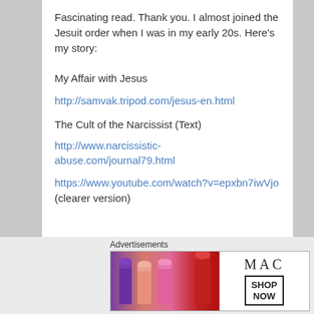Fascinating read. Thank you. I almost joined the Jesuit order when I was in my early 20s. Here's my story:
My Affair with Jesus
http://samvak.tripod.com/jesus-en.html
The Cult of the Narcissist (Text)
http://www.narcissistic-abuse.com/journal79.html
https://www.youtube.com/watch?v=epxbn7iwVjo (clearer version)
Advertisements